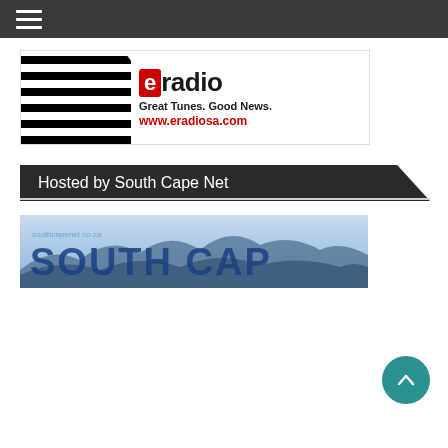Navigation menu header bar with hamburger icon
[Figure (logo): eRadio banner advertisement: black and white striped left portion, eradio logo (red 'e' box + 'radio' text), tagline 'Great Tunes. Good News.', URL 'www.eradiosa.com' in red]
Hosted by South Cape Net
[Figure (photo): South Cape Net banner image showing mountains/landscape with large text overlay in blue tones]